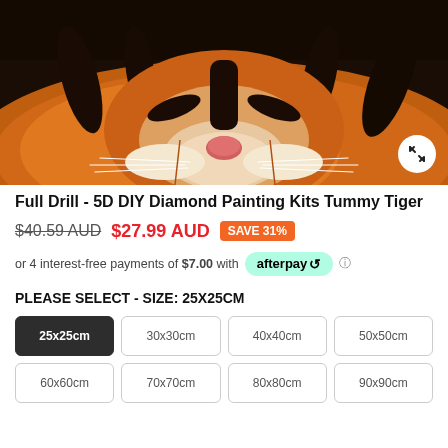[Figure (photo): Close-up photo of a tiger's face, resting, showing orange and black striped fur, white whiskers, and a pink nose against a dark background.]
Full Drill - 5D DIY Diamond Painting Kits Tummy Tiger
$40.59 AUD  $27.99 AUD  SAVE 31%
or 4 interest-free payments of $7.00 with afterpay
PLEASE SELECT - SIZE: 25X25CM
25x25cm
30x30cm
40x40cm
50x50cm
60x60cm
70x70cm
80x80cm
90x90cm